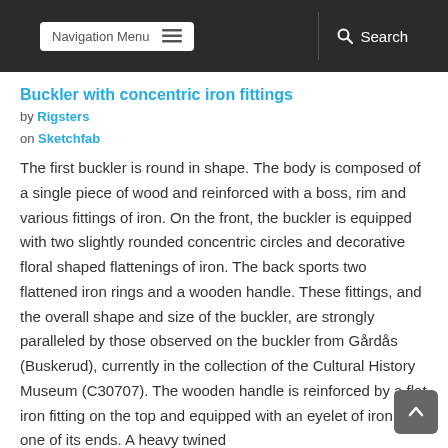Navigation Menu   Search
Buckler with concentric iron fittings
by Rigsters
on Sketchfab
The first buckler is round in shape. The body is composed of a single piece of wood and reinforced with a boss, rim and various fittings of iron. On the front, the buckler is equipped with two slightly rounded concentric circles and decorative floral shaped flattenings of iron. The back sports two flattened iron rings and a wooden handle. These fittings, and the overall shape and size of the buckler, are strongly paralleled by those observed on the buckler from Gårdås (Buskerud), currently in the collection of the Cultural History Museum (C30707). The wooden handle is reinforced by a flat iron fitting on the top and equipped with an eyelet of iron in one of its ends. A heavy twined